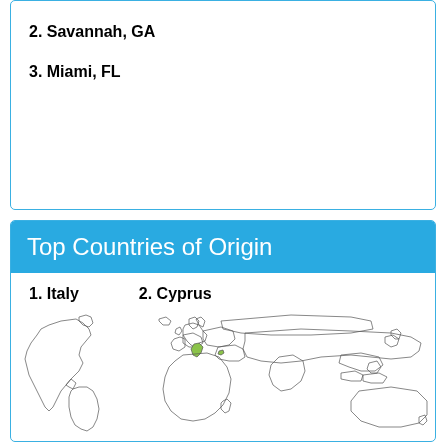2. Savannah, GA
3. Miami, FL
Top Countries of Origin
1. Italy
2. Cyprus
[Figure (map): World map with outlines of all countries, with a small green highlight around Italy/Cyprus region in southern Europe/Mediterranean.]